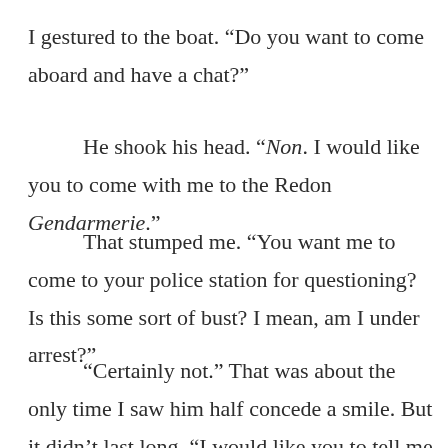I gestured to the boat. “Do you want to come aboard and have a chat?”
He shook his head. “Non. I would like you to come with me to the Redon Gendarmerie.”
That stumped me. “You want me to come to your police station for questioning? Is this some sort of bust? I mean, am I under arrest?”
“Certainly not.” That was about the only time I saw him half concede a smile. But it didn’t last long. “I would like you to tell me your story about the missing